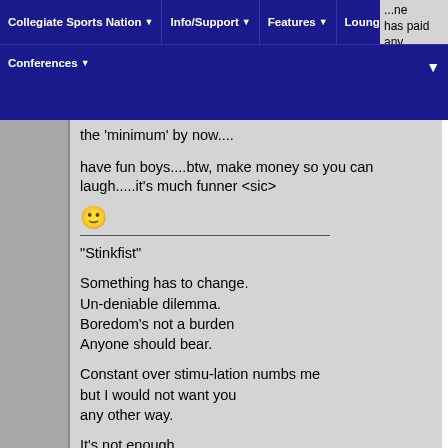Collegiate Sports Nation | Info/Support | Features | Lounge | Conferences
the 'minimum' by now....
have fun boys....btw, make money so you can laugh.....it's much funner <sic>
😊
"Stinkfist"
Something has to change.
Un-deniable dilemma.
Boredom's not a burden
Anyone should bear.
Constant over stimu-lation numbs me
but I would not want you
any other way.
It's not enough.
I need more.